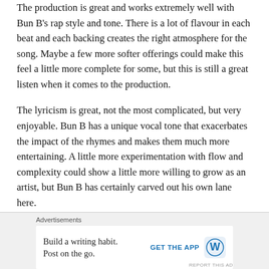The production is great and works extremely well with Bun B's rap style and tone. There is a lot of flavour in each beat and each backing creates the right atmosphere for the song. Maybe a few more softer offerings could make this feel a little more complete for some, but this is still a great listen when it comes to the production.
The lyricism is great, not the most complicated, but very enjoyable. Bun B has a unique vocal tone that exacerbates the impact of the rhymes and makes them much more entertaining. A little more experimentation with flow and complexity could show a little more willing to grow as an artist, but Bun B has certainly carved out his own lane here.